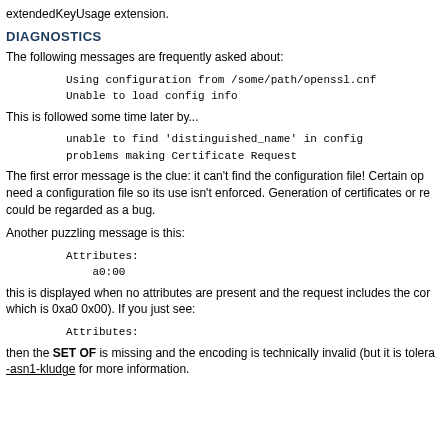extendedKeyUsage extension.
DIAGNOSTICS
The following messages are frequently asked about:
Using configuration from /some/path/openssl.cnf
Unable to load config info
This is followed some time later by...
unable to find 'distinguished_name' in config
problems making Certificate Request
The first error message is the clue: it can't find the configuration file! Certain op need a configuration file so its use isn't enforced. Generation of certificates or re could be regarded as a bug.
Another puzzling message is this:
Attributes:
    a0:00
this is displayed when no attributes are present and the request includes the cor which is 0xa0 0x00). If you just see:
Attributes:
then the SET OF is missing and the encoding is technically invalid (but it is tolera -asn1-kludge for more information.